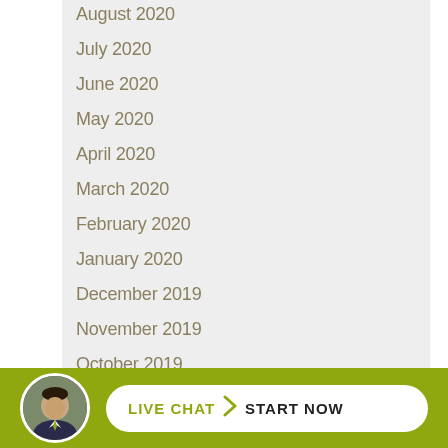August 2020
July 2020
June 2020
May 2020
April 2020
March 2020
February 2020
January 2020
December 2019
November 2019
October 2019
September 2019
August 2019
July
[Figure (other): Live chat widget with avatar photo of a man in suit and a white rounded button reading LIVE CHAT > START NOW on olive/yellow-green background bar]